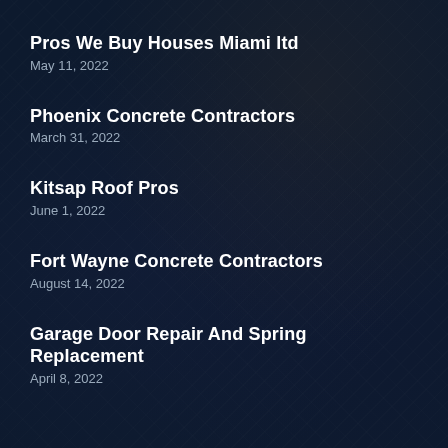Pros We Buy Houses Miami ltd
May 11, 2022
Phoenix Concrete Contractors
March 31, 2022
Kitsap Roof Pros
June 1, 2022
Fort Wayne Concrete Contractors
August 14, 2022
Garage Door Repair And Spring Replacement
April 8, 2022